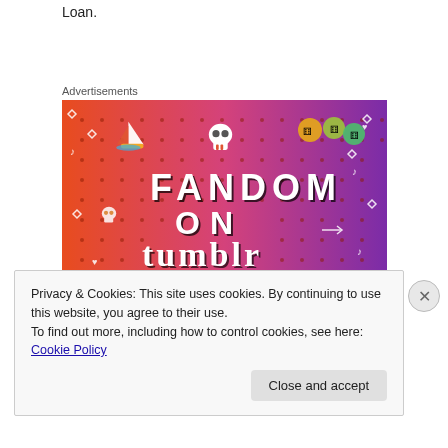Loan.
Advertisements
[Figure (illustration): Fandom on Tumblr advertisement banner with colorful gradient background (orange to purple) featuring cartoon stickers, skulls, dice, a sailboat, and large bold text reading 'FANDOM ON tumblr']
Privacy & Cookies: This site uses cookies. By continuing to use this website, you agree to their use.
To find out more, including how to control cookies, see here: Cookie Policy
Close and accept